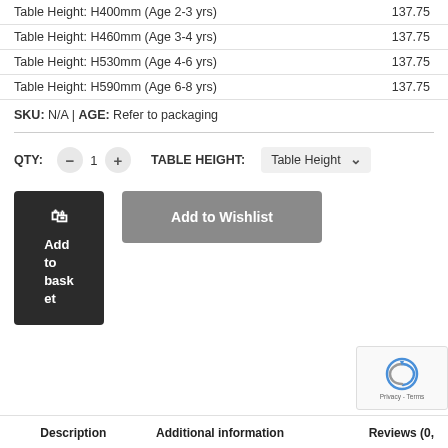|  |  |
| --- | --- |
| Table Height: H400mm (Age 2-3 yrs) | 137.75 |
| Table Height: H460mm (Age 3-4 yrs) | 137.75 |
| Table Height: H530mm (Age 4-6 yrs) | 137.75 |
| Table Height: H590mm (Age 6-8 yrs) | 137.75 |
SKU: N/A | AGE: Refer to packaging
QTY: − 1 + TABLE HEIGHT: Table Height ▾
[Figure (screenshot): Add to basket button (dark) and Add to Wishlist button (grey)]
[Figure (screenshot): reCAPTCHA / Privacy - Terms overlay in bottom-right corner]
Description | Additional information | Reviews (0,